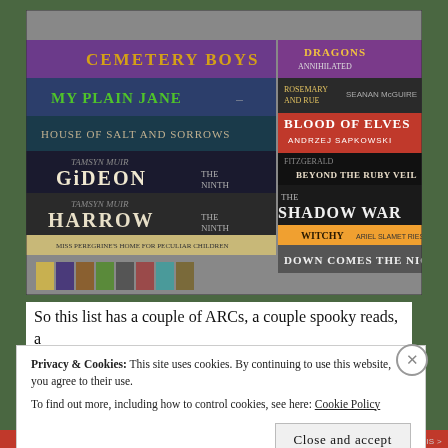[Figure (photo): A photograph of a stack of books on a shelf. Visible titles include: Cemetery Boys, My Plain Jane, House of Salt and Sorrows, Gideon the Ninth, Harrow the Ninth, Miss Peregrine's Home for Peculiar Children, Dragons (Annihilated?), Rosemary and Rue by Seanan McGuire, Blood of Elves by Andrzej Sapkowski, Beyond the Ruby Veil, The Shadow War, Witchy, Down Comes the Night.]
So this list has a couple of ARCs, a couple spooky reads, a
Privacy & Cookies: This site uses cookies. By continuing to use this website, you agree to their use. To find out more, including how to control cookies, see here: Cookie Policy
Close and accept